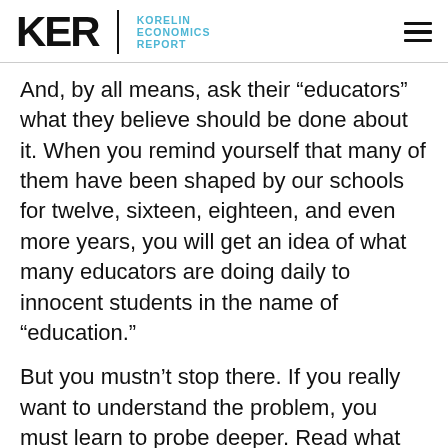KER | KORELIN ECONOMICS REPORT
And, by all means, ask their “educators” what they believe should be done about it. When you remind yourself that many of them have been shaped by our schools for twelve, sixteen, eighteen, and even more years, you will get an idea of what many educators are doing daily to innocent students in the name of “education.”
But you mustn’t stop there. If you really want to understand the problem, you must learn to probe deeper. Read what the average student must read in many of his classes: volumes of irrational nonsense in which clever writers adroitly lead students to their intellectual graveyards; acquaint yourself with some of the “profound” ideas voiced by popular anarchists, presented to students as precepts of “freedom”